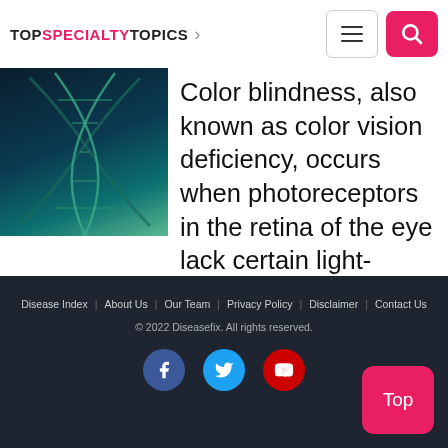TOP SPECIALTY TOPICS
[Figure (photo): Close-up image of a DNA helix on a dark blue-teal background]
Color blindness, also known as color vision deficiency, occurs when photoreceptors in the retina of the eye lack certain light-sensitive pigments. In most cases, colorblindness. . . .
Disease Index | About Us | Our Team | Privacy Policy | Disclaimer | Contact Us
© 2022 Diseasefix. All rights reserved.